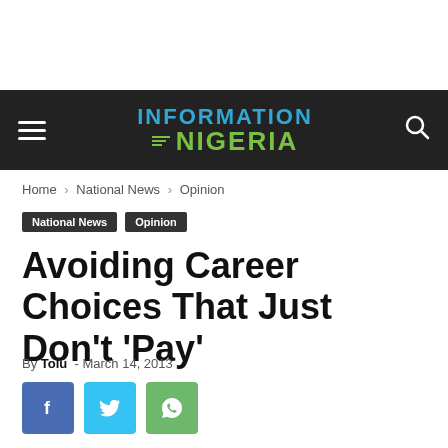INFORMATION NIGERIA
Home › National News › Opinion
National News  Opinion
Avoiding Career Choices That Just Don't 'Pay'
By Tolu - March 14, 2013
[Figure (other): Social share buttons: Facebook (blue), Twitter (light blue), WhatsApp (green)]